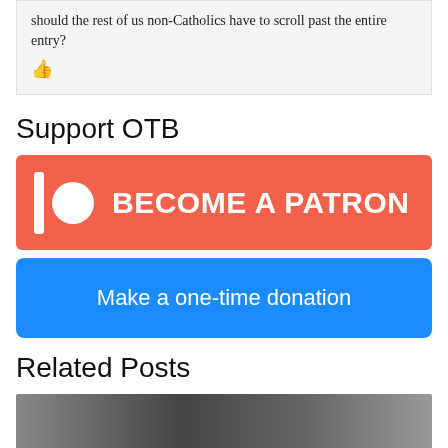should the rest of us non-Catholics have to scroll past the entire entry?
[Figure (other): Red thumbs up icon (like button)]
Support OTB
[Figure (other): Patreon button with Patreon logo icon and text BECOME A PATRON on red/salmon background]
[Figure (other): Blue button with text: Make a one-time donation]
Related Posts
[Figure (photo): Related posts image strip showing dark/greyscale photo thumbnail]